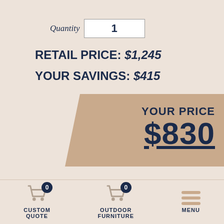Quantity  1
RETAIL PRICE: $1,245
YOUR SAVINGS: $415
YOUR PRICE $830
How to Shop Our Website +
CUSTOM QUOTE  0
OUTDOOR FURNITURE  0
MENU